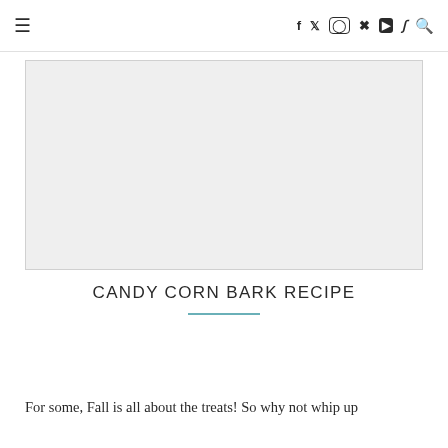≡  f  𝕏  ⊙  ✦  ▶  ♪  🔍
[Figure (photo): Large rectangular placeholder image with light gray background, representing the hero/featured image for the Candy Corn Bark Recipe article.]
CANDY CORN BARK RECIPE
For some, Fall is all about the treats! So why not whip up